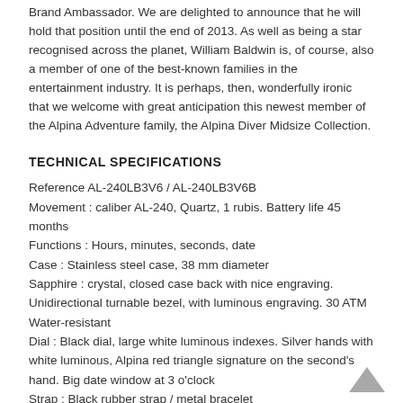Brand Ambassador. We are delighted to announce that he will hold that position until the end of 2013. As well as being a star recognised across the planet, William Baldwin is, of course, also a member of one of the best-known families in the entertainment industry. It is perhaps, then, wonderfully ironic that we welcome with great anticipation this newest member of the Alpina Adventure family, the Alpina Diver Midsize Collection.
TECHNICAL SPECIFICATIONS
Reference AL-240LB3V6 / AL-240LB3V6B
Movement : caliber AL-240, Quartz, 1 rubis. Battery life 45 months
Functions : Hours, minutes, seconds, date
Case : Stainless steel case, 38 mm diameter
Sapphire : crystal, closed case back with nice engraving. Unidirectional turnable bezel, with luminous engraving. 30 ATM Water-resistant
Dial : Black dial, large white luminous indexes. Silver hands with white luminous, Alpina red triangle signature on the second's hand. Big date window at 3 o'clock
Strap : Black rubber strap / metal bracelet
Reference AL-240LSD3V6 / AL-240LSD3V6B
Movement : caliber AL-240, Quartz, 1 rubis. Battery life 45 months
Functions : Hours, minutes, seconds, date
Case : Stainless steel case, 38 mm diameter
Sapphire : crystal, closed case back with nice engraving. Unidirectional turnable bezel, with luminous engraving. 30 ATM Water-resistant